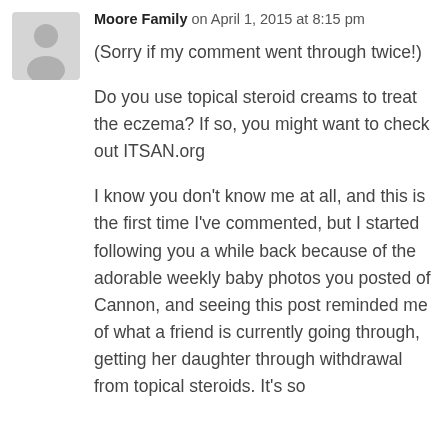[Figure (illustration): Generic gray avatar/silhouette icon for a user profile photo]
Moore Family on April 1, 2015 at 8:15 pm
(Sorry if my comment went through twice!)

Do you use topical steroid creams to treat the eczema? If so, you might want to check out ITSAN.org

I know you don't know me at all, and this is the first time I've commented, but I started following you a while back because of the adorable weekly baby photos you posted of Cannon, and seeing this post reminded me of what a friend is currently going through, getting her daughter through withdrawal from topical steroids. It's so